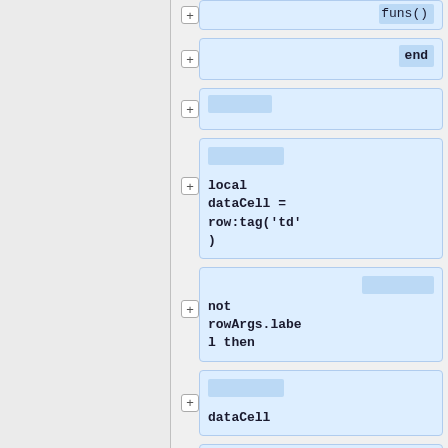[Figure (screenshot): Code diff/AST editor showing a series of expandable code blocks in a tree view. Each block shows fragments of Lua code: 'funs()', 'end', an empty block, 'local dataCell = row:tag(td)', 'if not rowArgs.label then', 'dataCell', and ':attr(colspan, 2)'. Each block has a '+' expand button on the left. The left panel is a gray sidebar.]